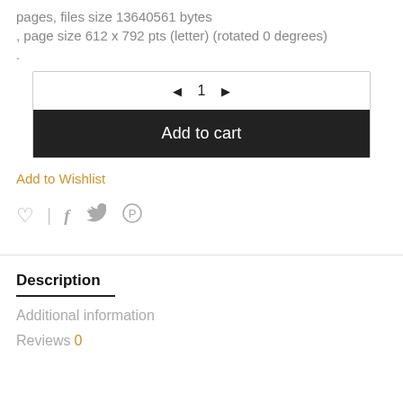pages, files size 13640561 bytes
, page size 612 x 792 pts (letter) (rotated 0 degrees)
.
[Figure (screenshot): Quantity selector with left arrow, number 1, right arrow, and an Add to cart button on dark background]
Add to Wishlist
[Figure (illustration): Social sharing icons: heart, vertical divider, Facebook (f), Twitter (bird), Pinterest (P)]
Description
Additional information
Reviews 0